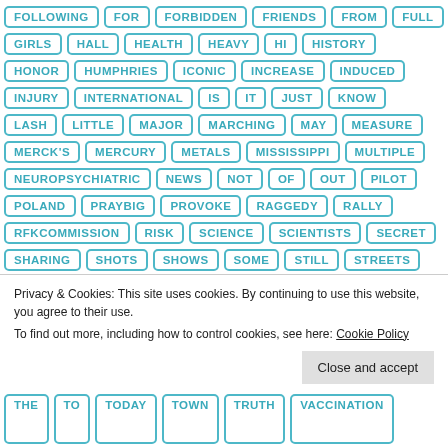FOLLOWING
FOR
FORBIDDEN
FRIENDS
FROM
FULL
GIRLS
HALL
HEALTH
HEAVY
HI
HISTORY
HONOR
HUMPHRIES
ICONIC
INCREASE
INDUCED
INJURY
INTERNATIONAL
IS
IT
JUST
KNOW
LASH
LITTLE
MAJOR
MARCHING
MAY
MEASURE
MERCK'S
MERCURY
METALS
MISSISSIPPI
MULTIPLE
NEUROPSYCHIATRIC
NEWS
NOT
OF
OUT
PILOT
POLAND
PRAYBIG
PROVOKE
RAGGEDY
RALLY
RFKCOMMISSION
RISK
SCIENCE
SCIENTISTS
SECRET
SHARING
SHOTS
SHOWS
SOME
STILL
STREETS
Privacy & Cookies: This site uses cookies. By continuing to use this website, you agree to their use.
To find out more, including how to control cookies, see here: Cookie Policy
THE
TO
TODAY
TOWN
TRUTH
VACCINATION